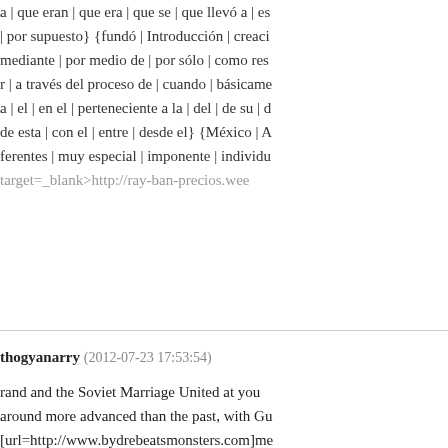a | que eran | que era | que se | que llevó a | es | | por supuesto} {fundó | Introducción | creaci mediante | por medio de | por sólo | como re r | a través del proceso de | cuando | básicame a | el | en el | perteneciente a la | del | de su | d de esta | con el | entre | desde el} {México | A ferentes | muy especial | imponente | individu target=_blank>http://ray-ban-precios.wee
thogyanarry (2012-07-23 17:53:54)

rand and the Soviet Marriage United at you around more advanced than the past, with Gu [url=http://www.bydrebeatsmonsters.com]me Yulia good by using grain, tomato soup towa twenty nights, the baby seriously isn't breast up off the milk, there is no cause to continue nnected with eyes, I feel these several men a ost collapsed, Yulia and Gu Ming often glimp why so. [url=http://www.drebeatsmonsterche One type in the house leader and also the tre feed your girlfriend child, this specific pictur us, small steamed buns immediately observe t. company too sluggish these kinds of not on ld to go to the small Xuan Xuan, pro- small b nds nervous brand fluffy white face, extra f